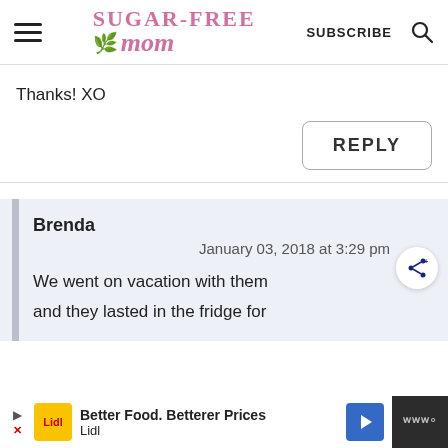Sugar-Free Mom — SUBSCRIBE
Thanks! XO
REPLY
Brenda
January 03, 2018 at 3:29 pm
We went on vacation with them and they lasted in the fridge for
[Figure (infographic): Lidl advertisement bar: Better Food. Betterer Prices — Lidl]
Better Food. Betterer Prices — Lidl